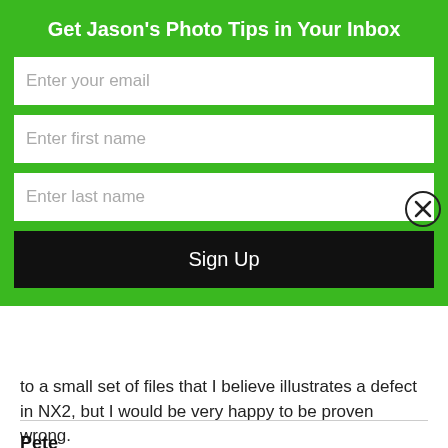Get Jason's Photo Tips in Your Inbox
Enter your email
Enter first name
Enter last name
Sign Up
to a small set of files that I believe illustrates a defect in NX2, but I would be very happy to be proven wrong.
http://goo.gl/TILrP
Pete
FEBRUARY 26, 2012 AT 10:24 AM
Further to my post on 4th Jan: thanks for sharing your findings and files, Chris. I'm having severe issues with version 2.3 and D700 NEFs. My night photography has